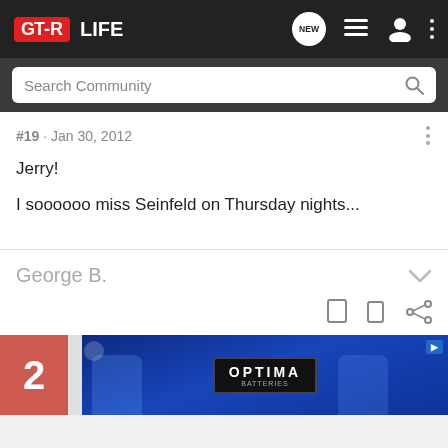GT-R LIFE — navigation bar with search
#19  ·  Jan 30, 2012
Jerry!
I soooooo miss Seinfeld on Thursday nights...
George B.
[Figure (screenshot): Optima Batteries advertisement banner in blue]
2